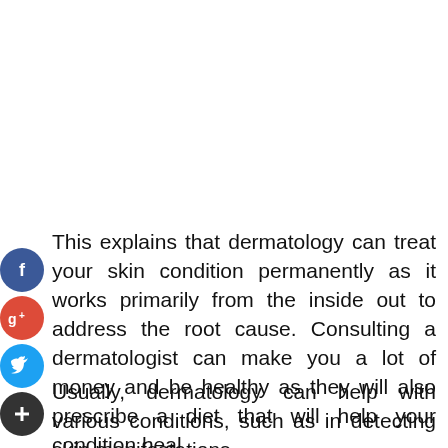[Figure (other): Social media sharing buttons: Facebook (blue circle with f), Google+ (red circle with g+), Twitter (blue circle with bird icon), Add/Plus (dark circle with + icon), arranged vertically on the left side of the page]
This explains that dermatology can treat your skin condition permanently as it works primarily from the inside out to address the root cause. Consulting a dermatologist can make you a lot of money and be healthy as they will also prescribe a diet that will help your condition heal.
Usually, dermatology can help with various conditions, such as in detecting skin manifestations